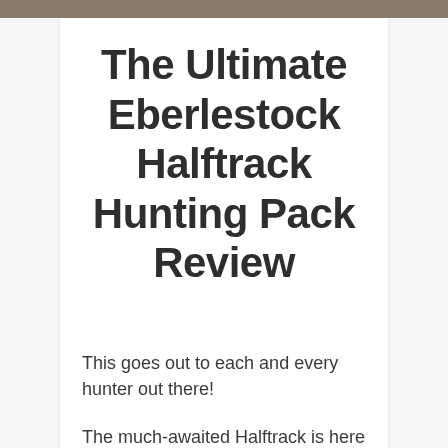[Figure (photo): Partial photo strip at top of page showing a hunter or person outdoors, cropped to a thin band]
The Ultimate Eberlestock Halftrack Hunting Pack Review
This goes out to each and every hunter out there!
The much-awaited Halftrack is here with us. But don't get me wrong. I mean Eberlestock Halftrack Hunting Pack, not the World War II Halftrack